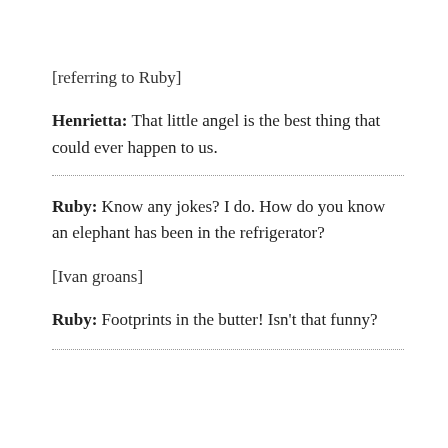[referring to Ruby]
Henrietta: That little angel is the best thing that could ever happen to us.
Ruby: Know any jokes? I do. How do you know an elephant has been in the refrigerator?
[Ivan groans]
Ruby: Footprints in the butter! Isn't that funny?